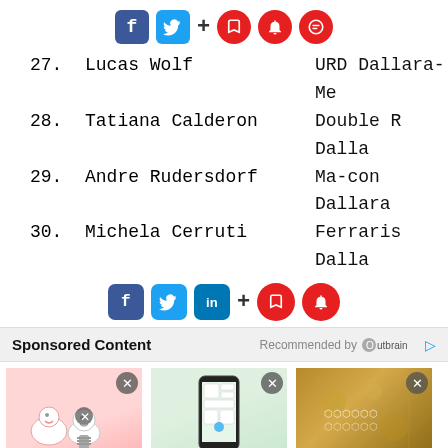[Figure (other): Social sharing icons row: Facebook, Twitter, plus sign, bookmark, bell, and comment circle icons (red circles)]
27.  Lucas Wolf        URD Dallara-Me
28.  Tatiana Calderon   Double R Dalla
29.  Andre Rudersdorf   Ma-con Dallara
30.  Michela Cerruti    Ferraris Dalla
[Figure (other): Social sharing icons row: Facebook, Twitter, LinkedIn, plus sign, bookmark (red), bell (red)]
Sponsored Content   Recommended by Outbrain
[Figure (photo): Cartoon tooth/dental implant illustration]
Here's What 1-Day Dental Implants Actually Cost
Dental implants | Search ads
[Figure (photo): Hand holding smartphone showing app screens]
Search, shop, get answers and more- all with...
Amazon Alexa
[Figure (photo): Gold/brown textured surface with decorative elements]
5 Decades of Resilience, Family and Premium...
Wells Fargo News